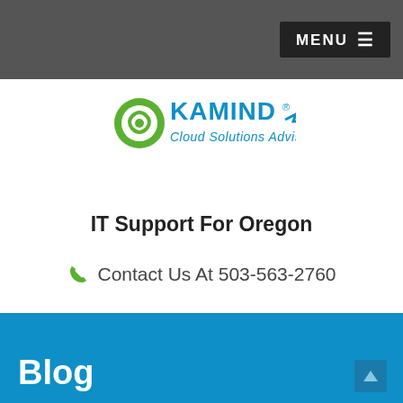MENU
[Figure (logo): KAMIND Cloud Solutions Advisors logo with green circular icon and blue arrow]
IT Support For Oregon
Contact Us At 503-563-2760
Blog